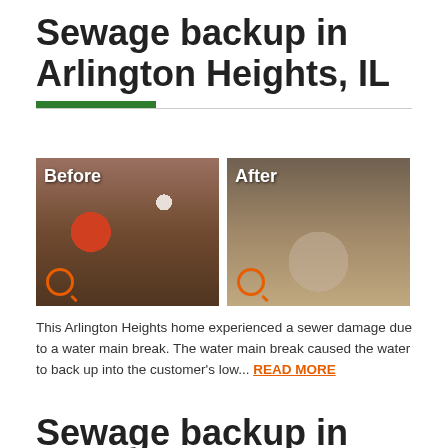Sewage backup in Arlington Heights, IL
[Figure (photo): Before and after photos of sewage backup damage in Arlington Heights home. Left image labeled 'Before' shows cluttered basement with damaged items. Right image labeled 'After' shows cleaned area.]
This Arlington Heights home experienced a sewer damage due to a water main break. The water main break caused the water to back up into the customer's low... READ MORE
Sewage backup in